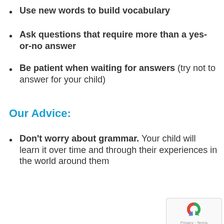Use new words to build vocabulary
Ask questions that require more than a yes-or-no answer
Be patient when waiting for answers (try not to answer for your child)
Our Advice:
Don't worry about grammar. Your child will learn it over time and through their experiences in the world around them